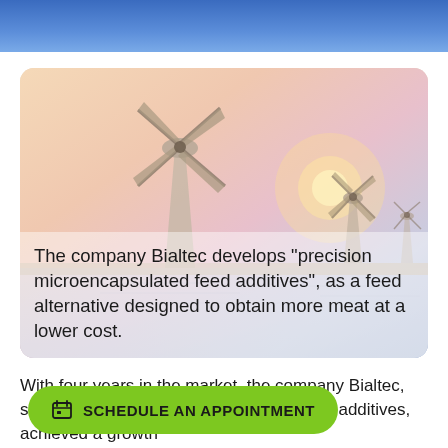[Figure (photo): Photo of Dutch windmills in a soft warm sunset light (Kinderdijk style), with a pastel pink, orange and blue sky and calm water reflections. The image is displayed in a rounded card.]
The company Bialtec develops “precision microencapsulated feed additives”, as a feed alternative designed to obtain more meat at a lower cost.
With four years in the market, the company Bialtec, s[...] through precision microencapsulated feed additives, achieved a growth